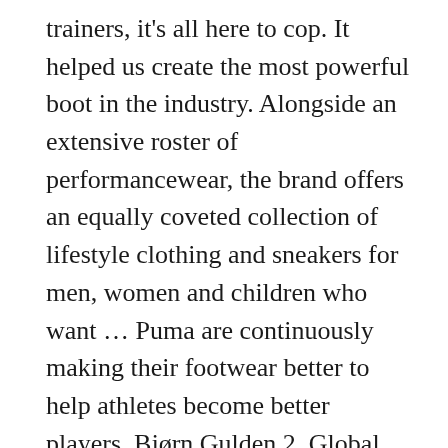trainers, it's all here to cop. It helped us create the most powerful boot in the industry. Alongside an extensive roster of performancewear, the brand offers an equally coveted collection of lifestyle clothing and sneakers for men, women and children who want ... Puma are continuously making their footwear better to help athletes become better players. Bjørn Gulden 2. Global Director Brand Marketing PUMA just celebrated its 70th anniversary. -Jane. The DVD player stopped working the fourth time we went camping. We are currently undergoing a rebrand programme of work, which will see our retail sites rebranded with a fresh new look and feel.